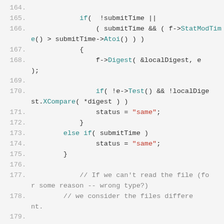[Figure (screenshot): Source code snippet lines 164-183 in C++ with syntax highlighting. Teal colored keywords and method names, red string literals, gray comments, dark gray default text on light gray background.]